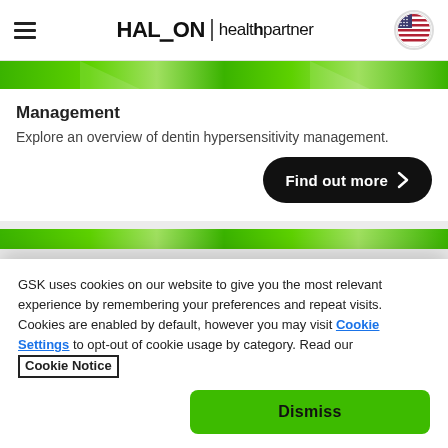HALEON | healthpartner
Management
Explore an overview of dentin hypersensitivity management.
Find out more >
GSK uses cookies on our website to give you the most relevant experience by remembering your preferences and repeat visits. Cookies are enabled by default, however you may visit Cookie Settings to opt-out of cookie usage by category. Read our Cookie Notice
Dismiss